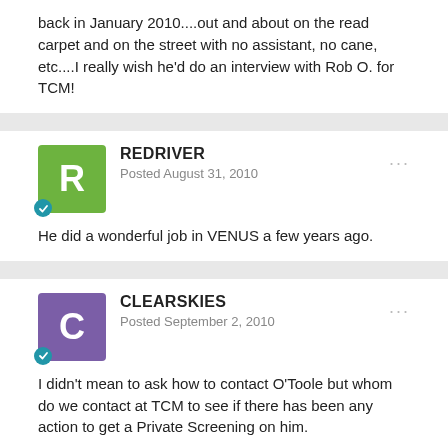back in January 2010....out and about on the read carpet and on the street with no assistant, no cane, etc....I really wish he'd do an interview with Rob O. for TCM!
REDRIVER
Posted August 31, 2010
He did a wonderful job in VENUS a few years ago.
CLEARSKIES
Posted September 2, 2010
I didn't mean to ask how to contact O'Toole but whom do we contact at TCM to see if there has been any action to get a Private Screening on him.